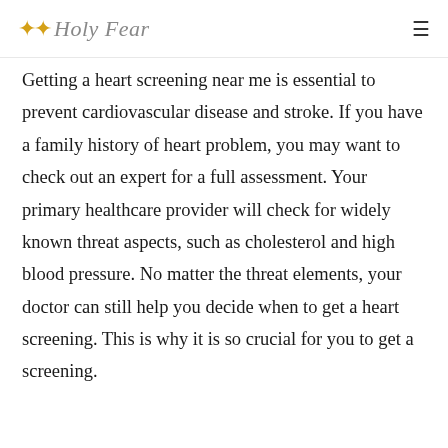Holy Fear
Getting a heart screening near me is essential to prevent cardiovascular disease and stroke. If you have a family history of heart problem, you may want to check out an expert for a full assessment. Your primary healthcare provider will check for widely known threat aspects, such as cholesterol and high blood pressure. No matter the threat elements, your doctor can still help you decide when to get a heart screening. This is why it is so crucial for you to get a screening.